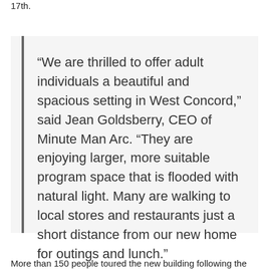17th.
“We are thrilled to offer adult individuals a beautiful and spacious setting in West Concord,” said Jean Goldsberry, CEO of Minute Man Arc. “They are enjoying larger, more suitable program space that is flooded with natural light. Many are walking to local stores and restaurants just a short distance from our new home for outings and lunch.”
More than 150 people toured the new building following the